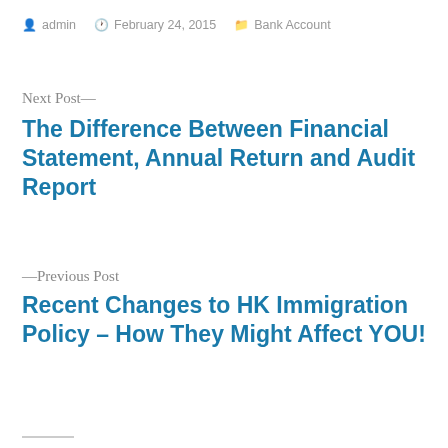admin  February 24, 2015  Bank Account
Next Post—
The Difference Between Financial Statement, Annual Return and Audit Report
—Previous Post
Recent Changes to HK Immigration Policy – How They Might Affect YOU!